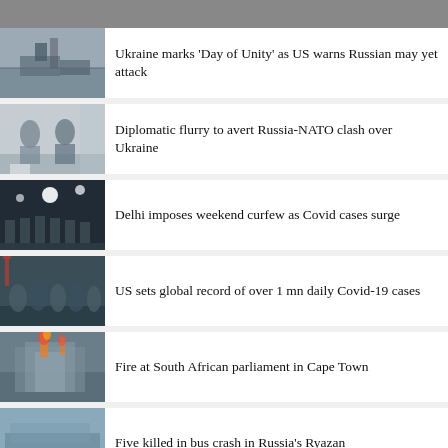Ukraine marks 'Day of Unity' as US warns Russian may yet attack
Diplomatic flurry to avert Russia-NATO clash over Ukraine
Delhi imposes weekend curfew as Covid cases surge
US sets global record of over 1 mn daily Covid-19 cases
Fire at South African parliament in Cape Town
Five killed in bus crash in Russia's Ryazan